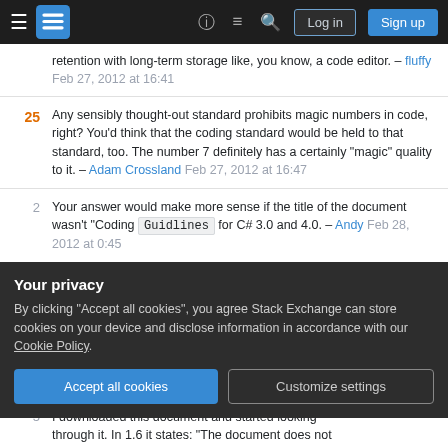Stack Exchange navigation bar with hamburger menu, logo, help, chat, search icons, Log in and Sign up buttons
retention with long-term storage like, you know, a code editor. – fluffy Feb 27, 2012 at 16:41
25 Any sensibly thought-out standard prohibits magic numbers in code, right? You'd think that the coding standard would be held to that standard, too. The number 7 definitely has a certainly "magic" quality to it. – Adam Crossland Feb 27, 2012 at 16:47
2 Your answer would make more sense if the title of the document wasn't "Coding Guidlines for C# 3.0 and 4.0. – Andy Feb 28, 2012 at 0:45
+1 In my mind the only reason you should follow coding standards is never to dogmatically follow an
Your privacy
By clicking "Accept all cookies", you agree Stack Exchange can store cookies on your device and disclose information in accordance with our Cookie Policy.
Accept all cookies  Customize settings
I downloaded this document and started looking through it. In 1.6 it states: "The document does not